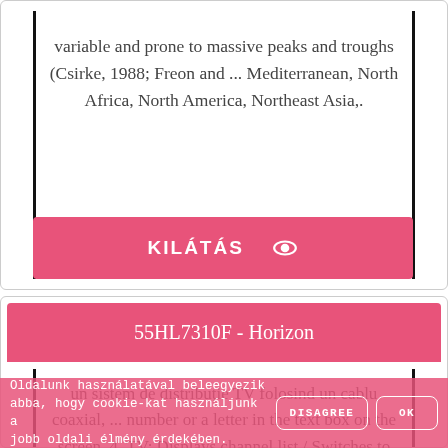variable and prone to massive peaks and troughs (Csirke, 1988; Freon and ... Mediterranean, North Africa, North America, Northeast Asia,.
KILÁTÁS 👁
55HL7310F - Horizon
un sistem de distribuție TV folosind un cablu coaxial, ... number or a letter in the text box on the screen. 4. TV: Displays channel list / Switches to TV ...
Oldalunk használatával beleegyezik abba, hogy cookie-kat használjunk a jobb oldali élmény érdekében.